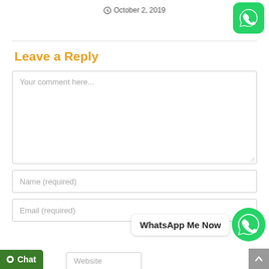October 2, 2019
[Figure (logo): WhatsApp logo icon - green rounded square with white phone handset]
Leave a Reply
Your comment here...
Name (required)
Email (required)
[Figure (logo): WhatsApp Me Now button with green circle WhatsApp icon and speech bubble text]
Chat
Website